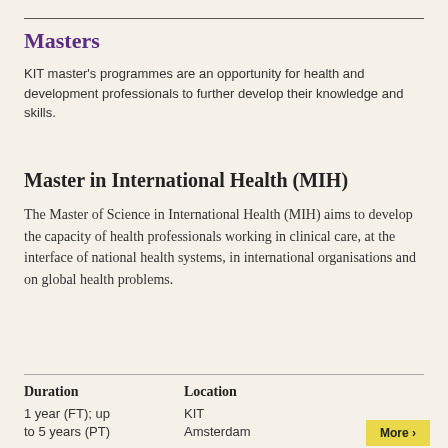Masters
KIT master's programmes are an opportunity for health and development professionals to further develop their knowledge and skills.
Master in International Health (MIH)
The Master of Science in International Health (MIH) aims to develop the capacity of health professionals working in clinical care, at the interface of national health systems, in international organisations and on global health problems.
| Duration | Location |
| --- | --- |
| 1 year (FT); up to 5 years (PT) | KIT Amsterdam |